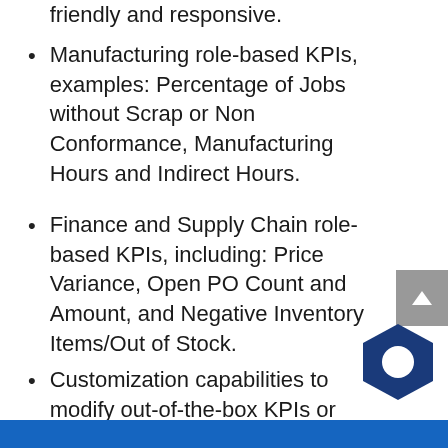friendly and responsive.
Manufacturing role-based KPIs, examples: Percentage of Jobs without Scrap or Non Conformance, Manufacturing Hours and Indirect Hours.
Finance and Supply Chain role-based KPIs, including: Price Variance, Open PO Count and Amount, and Negative Inventory Items/Out of Stock.
Customization capabilities to modify out-of-the-box KPIs or create entirely new ones based on existing or